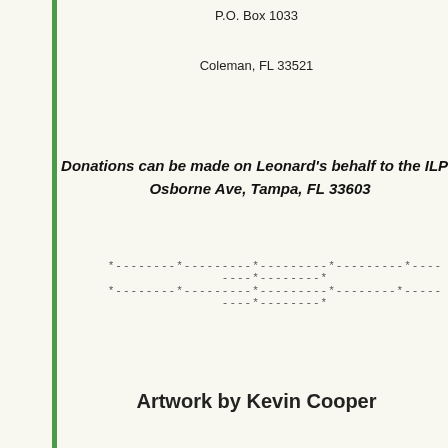P.O. Box 1033
Coleman, FL 33521
Donations can be made on Leonard's behalf to the ILPD Osborne Ave, Tampa, FL 33603
*--------*---------*---------*---------*--------*--------*
*--------*---------*---------*--------*---------*--------*
Artwork by Kevin Cooper